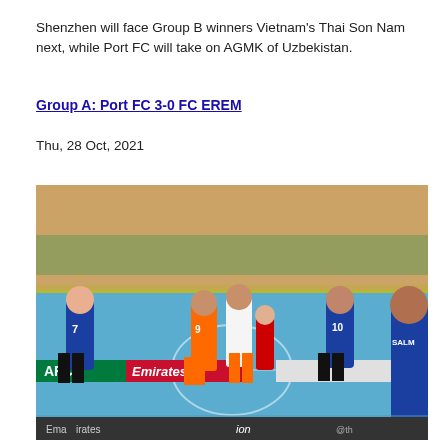Shenzhen will face Group B winners Vietnam's Thai Son Nam next, while Port FC will take on AGMK of Uzbekistan.
Group A: Port FC 3-0 FC EREM
Thu, 28 Oct, 2021
[Figure (photo): Futsal match in progress inside an indoor arena with a large crowd in the stands. Players in blue uniforms and orange/white uniforms on a blue court. AFC and Emirates branding visible on sideline boards.]